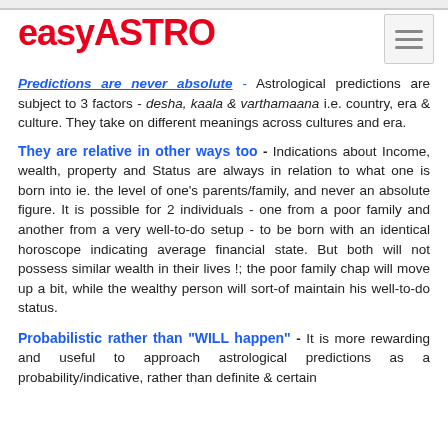[Figure (logo): easyASTRO logo in red bold text]
Predictions are never absolute - Astrological predictions are subject to 3 factors - desha, kaala & varthamaana i.e. country, era & culture. They take on different meanings across cultures and era.
They are relative in other ways too - Indications about Income, wealth, property and Status are always in relation to what one is born into ie. the level of one's parents/family, and never an absolute figure. It is possible for 2 individuals - one from a poor family and another from a very well-to-do setup - to be born with an identical horoscope indicating average financial state. But both will not possess similar wealth in their lives !; the poor family chap will move up a bit, while the wealthy person will sort-of maintain his well-to-do status.
Probabilistic rather than "WILL happen" - It is more rewarding and useful to approach astrological predictions as a probability/indicative, rather than definite & certain